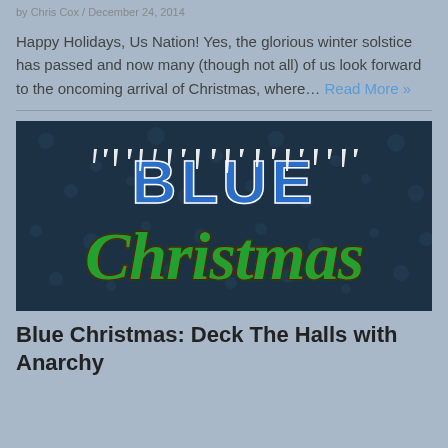by Chris Cox / December 24, 2014
Happy Holidays, Us Nation! Yes, the glorious winter solstice has passed and now many (though not all) of us look forward to the oncoming arrival of Christmas, where… Read More »
[Figure (illustration): Blue Christmas logo image with icy blue block letters spelling BLUE at the top with icicles, and green cursive script spelling Christmas below, on a dark teal/navy background with subtle pattern.]
Blue Christmas: Deck The Halls with Anarchy